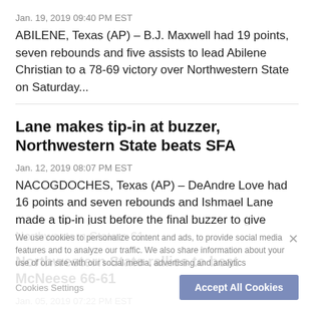Jan. 19, 2019 09:40 PM EST
ABILENE, Texas (AP) – B.J. Maxwell had 19 points, seven rebounds and five assists to lead Abilene Christian to a 78-69 victory over Northwestern State on Saturday...
Lane makes tip-in at buzzer, Northwestern State beats SFA
Jan. 12, 2019 08:07 PM EST
NACOGDOCHES, Texas (AP) – DeAndre Love had 16 points and seven rebounds and Ishmael Lane made a tip-in just before the final buzzer to give Northwestern State a 61...
Northwestern State rallies to beat McNeese 66-61
Jan. 05, 2019 07:22 PM EST
NATCHITOCHES, La. (AP) – Ishmael Lane had 17 points and 12 rebounds on Saturday and Northwestern State rallied late and